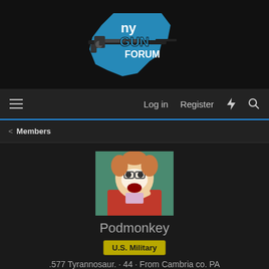[Figure (logo): NY Gun Forum logo with outline of New York state, rifle, text 'ny GUN FORUM' in blue and white]
Log in  Register
Members
[Figure (photo): Profile avatar photo of a person in costume with face paint, curly hair, and red jacket]
Podmonkey
U.S. Military
.577 Tyrannosaur. · 44 · From Cambria co. PA